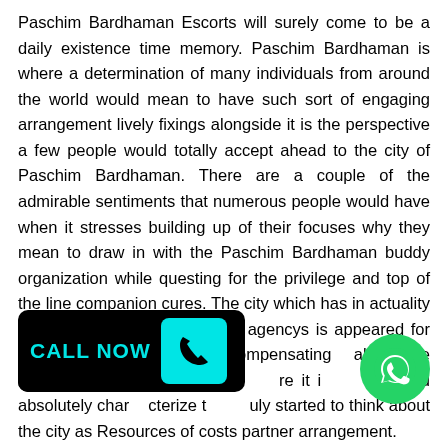Paschim Bardhaman Escorts will surely come to be a daily existence time memory. Paschim Bardhaman is where a determination of many individuals from around the world would mean to have such sort of engaging arrangement lively fixings alongside it is the perspective a few people would totally accept ahead to the city of Paschim Bardhaman. There are a couple of the admirable sentiments that numerous people would have when it stresses building up of their focuses why they mean to draw in with the Paschim Bardhaman buddy organization while questing for the privilege and top of the line companion cures. The city which has in actuality given various sort of pleasant agencys is appeared for various of the best compensating alternative empowered parts and furthermore it is would absolutely characterize the truly started to think about the city as Resources of costs partner arrangement.
[Figure (other): CALL NOW button with phone icon in cyan on black background]
[Figure (other): WhatsApp green circle icon]